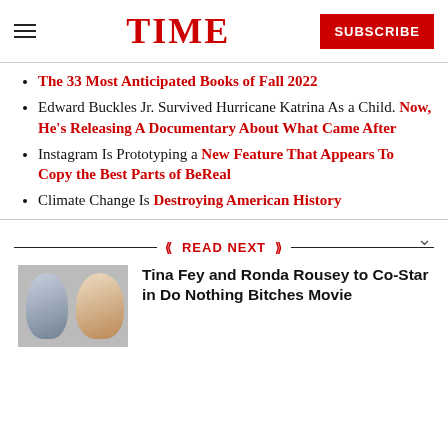TIME | SUBSCRIBE
The 33 Most Anticipated Books of Fall 2022
Edward Buckles Jr. Survived Hurricane Katrina As a Child. Now, He’s Releasing A Documentary About What Came After
Instagram Is Prototyping a New Feature That Appears To Copy the Best Parts of BeReal
Climate Change Is Destroying American History
READ NEXT
[Figure (photo): Two women side by side, photo for article about Tina Fey and Ronda Rousey]
Tina Fey and Ronda Rousey to Co-Star in Do Nothing Bitches Movie